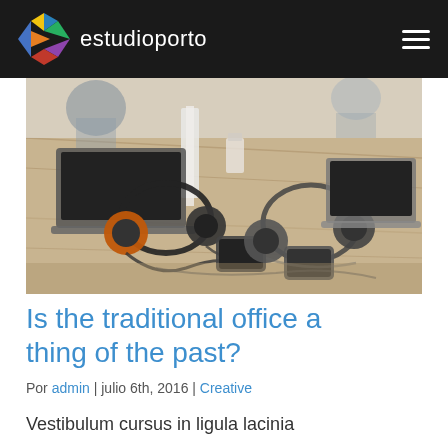estudioporto
[Figure (photo): Photo of a wooden office table with headphones, laptops, and phones on it, with people blurred in the background]
Is the traditional office a thing of the past?
Por admin | julio 6th, 2016 | Creative
Vestibulum cursus in ligula lacinia